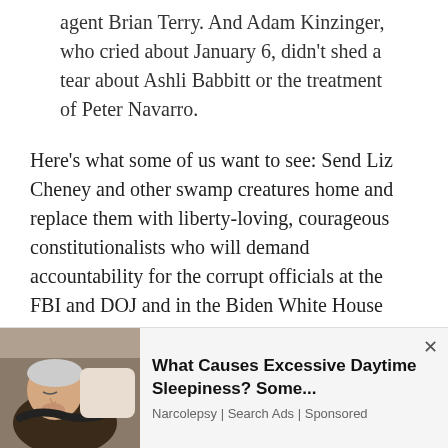that resulted in the death of a border agent Brian Terry. And Adam Kinzinger, who cried about January 6, didn't shed a tear about Ashli Babbitt or the treatment of Peter Navarro.
Here's what some of us want to see: Send Liz Cheney and other swamp creatures home and replace them with liberty-loving, courageous constitutionalists who will demand accountability for the corrupt officials at the FBI and DOJ and in the Biden White House who have persecuted their
[Figure (photo): Advertisement overlay showing an elderly man sleeping in a chair, with text about excessive daytime sleepiness]